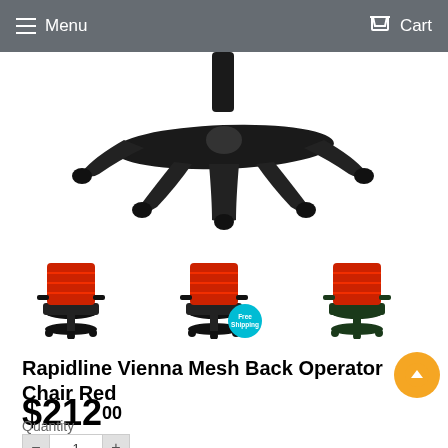Menu   Cart
[Figure (photo): Partial view of office chair base with casters, black plastic five-star base, cropped showing bottom portion only]
[Figure (photo): Three thumbnail images of the Rapidline Vienna Mesh Back Operator Chair: first shows red mesh back chair, second shows red mesh back chair with a 'Free Shipping' circular badge overlay, third shows same chair model in green/dark color]
Rapidline Vienna Mesh Back Operator Chair Red
$212.00
Quantity